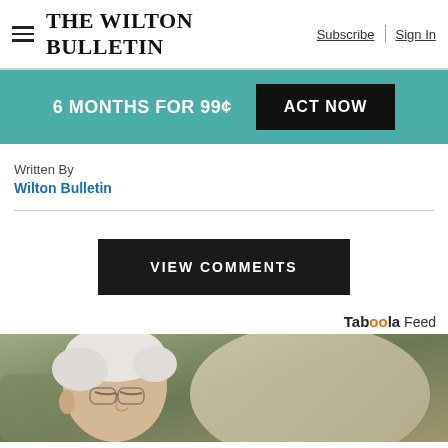The Wilton Bulletin | Subscribe | Sign In
[Figure (infographic): Teal promotional banner: '6 MONTHS FOR 99¢' with black 'ACT NOW' button]
Written By
Wilton Bulletin
VIEW COMMENTS
Taboola Feed
[Figure (photo): Elderly man with white hair and glasses sleeping in a beige/olive armchair]